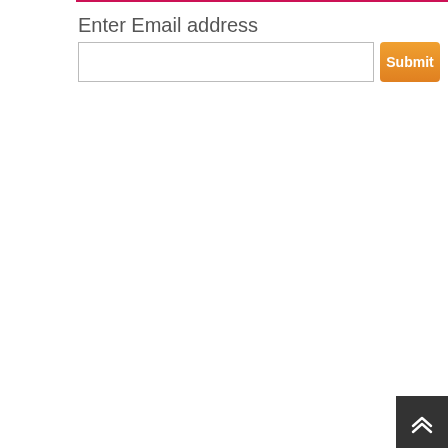Enter Email address
[Figure (screenshot): Email input field with Submit button. The input is a wide rectangular text box with a thin border. The Submit button is orange/gradient with white bold text.]
[Figure (other): Scroll-to-top button in the bottom-right corner: dark gray square with a double chevron/arrow pointing up in white.]